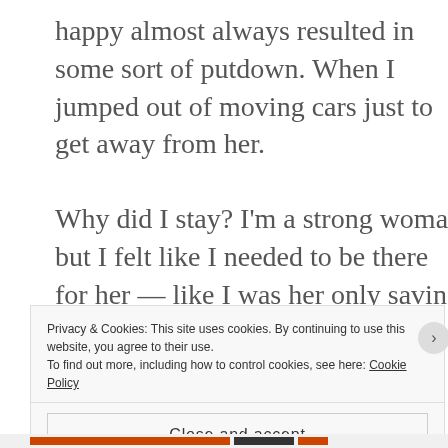happy almost always resulted in some sort of putdown. When I jumped out of moving cars just to get away from her.
Why did I stay? I'm a strong woman but I felt like I needed to be there for her — like I was her only saving grace in this world. I felt like my life was a whirlwind and I was trying to gain steady ground in
Privacy & Cookies: This site uses cookies. By continuing to use this website, you agree to their use.
To find out more, including how to control cookies, see here: Cookie Policy
Close and accept